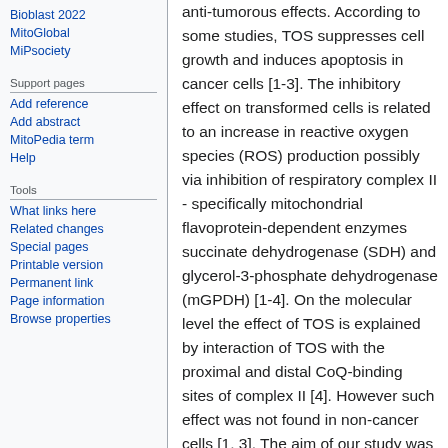Bioblast 2022
MitoGlobal
MiPsociety
Support pages
Add reference
Add abstract
MitoPedia term
Help
Tools
What links here
Related changes
Special pages
Printable version
Permanent link
Page information
Browse properties
anti-tumorous effects. According to some studies, TOS suppresses cell growth and induces apoptosis in cancer cells [1-3]. The inhibitory effect on transformed cells is related to an increase in reactive oxygen species (ROS) production possibly via inhibition of respiratory complex II - specifically mitochondrial flavoprotein-dependent enzymes succinate dehydrogenase (SDH) and glycerol-3-phosphate dehydrogenase (mGPDH) [1-4]. On the molecular level the effect of TOS is explained by interaction of TOS with the proximal and distal CoQ-binding sites of complex II [4]. However such effect was not found in non-cancer cells [1, 3]. The aim of our study was to assess the inhibitory action of TOS on complex II in rat heart and liver homogenate and mitochondria. The